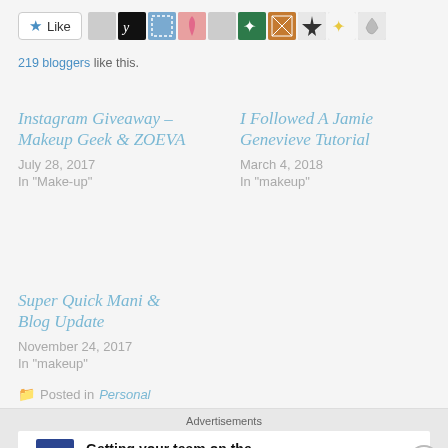[Figure (other): Like button with star icon and row of blogger avatar thumbnails]
219 bloggers like this.
Instagram Giveaway – Makeup Geek & ZOEVA
July 28, 2017
In "Make-up"
I Followed A Jamie Genevieve Tutorial
March 4, 2018
In "makeup"
Super Quick Mani & Blog Update
November 24, 2017
In "makeup"
Posted in Personal
Advertisements
[Figure (logo): P2 logo - dark blue square with P2 text]
Getting your team on the same page is easy. And free.